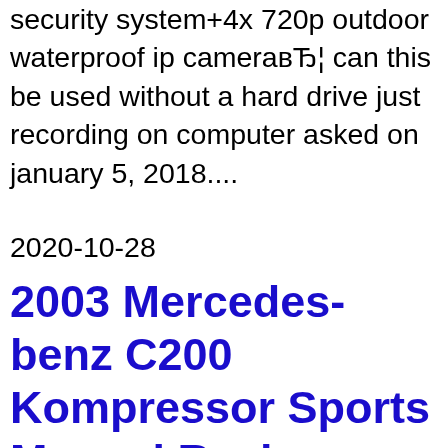security system+4x 720p outdoor waterproof ip cameraвЂ¦ can this be used without a hard drive just recording on computer asked on january 5, 2018....
2020-10-28
2003 Mercedes-benz C200 Kompressor Sports Manual Review
2003 mercedes c-class specifications car specs auto123. 2003 mercedes-benz c-class trims (14) trim family base kompressor sport sport years 2020